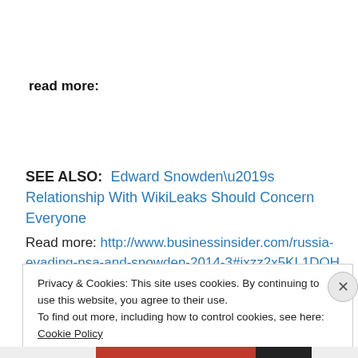read more:
SEE ALSO:  Edward Snowden’s Relationship With WikiLeaks Should Concern Everyone
Read more: http://www.businessinsider.com/russia-evading-nsa-and-snowden-2014-3#ixzz2x5KL1DOH
Privacy & Cookies: This site uses cookies. By continuing to use this website, you agree to their use.
To find out more, including how to control cookies, see here: Cookie Policy